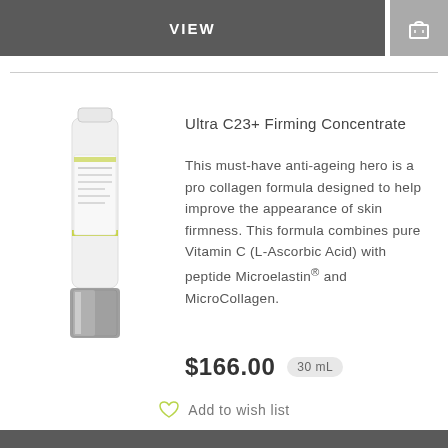VIEW
[Figure (photo): Product tube of Ultra C23+ Firming Concentrate skincare product, white tube with silver/chrome base, with green label accents]
Ultra C23+ Firming Concentrate
This must-have anti-ageing hero is a pro collagen formula designed to help improve the appearance of skin firmness. This formula combines pure Vitamin C (L-Ascorbic Acid) with peptide Microelastin® and MicroCollagen.
$166.00   30 mL
Add to wish list